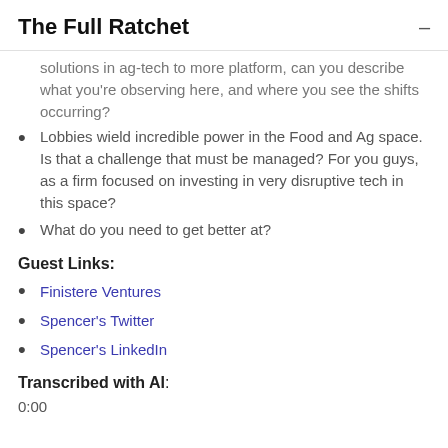The Full Ratchet
solutions in ag-tech to more platform, can you describe what you're observing here, and where you see the shifts occurring?
Lobbies wield incredible power in the Food and Ag space. Is that a challenge that must be managed? For you guys, as a firm focused on investing in very disruptive tech in this space?
What do you need to get better at?
Guest Links:
Finistere Ventures
Spencer's Twitter
Spencer's LinkedIn
Transcribed with AI:
0:00